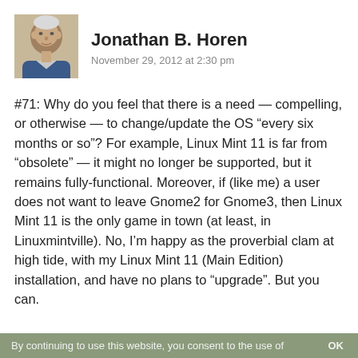[Figure (photo): Avatar photo of Jonathan B. Horen, an elderly man with white hair]
Jonathan B. Horen
November 29, 2012 at 2:30 pm
#71: Why do you feel that there is a need — compelling, or otherwise — to change/update the OS “every six months or so”? For example, Linux Mint 11 is far from “obsolete” — it might no longer be supported, but it remains fully-functional. Moreover, if (like me) a user does not want to leave Gnome2 for Gnome3, then Linux Mint 11 is the only game in town (at least, in Linuxmintville). No, I’m happy as the proverbial clam at high tide, with my Linux Mint 11 (Main Edition) installation, and have no plans to “upgrade”. But you can.

WRT “automatic updates”, I believe you really meant to write “upgrades” — Linux Mint already has a
By continuing to use this website, you consent to the use of    OK